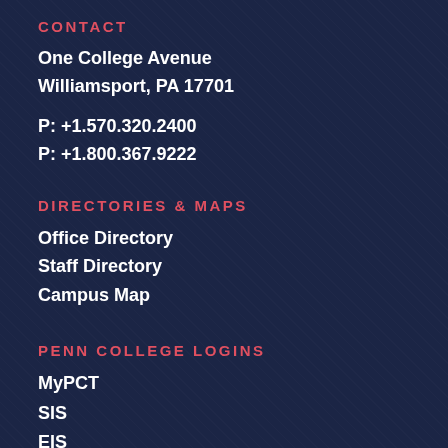CONTACT
One College Avenue
Williamsport, PA 17701
P: +1.570.320.2400
P: +1.800.367.9222
DIRECTORIES & MAPS
Office Directory
Staff Directory
Campus Map
PENN COLLEGE LOGINS
MyPCT
SIS
EIS
P.L.A.T.O.